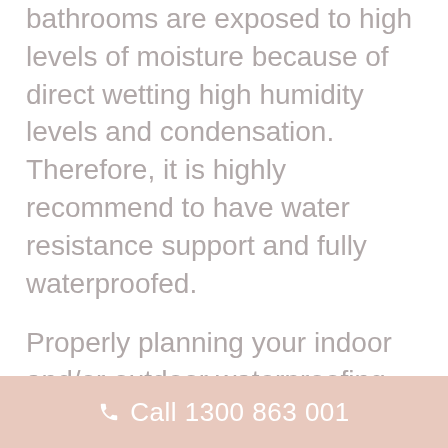Important: Wet areas such as bathrooms are exposed to high levels of moisture because of direct wetting high humidity levels and condensation. Therefore, it is highly recommend to have water resistance support and fully waterproofed.

Properly planning your indoor and/or outdoor waterproofing project is also essential to prevent massive water damages in the area. From floor tiles, tile adhesives and even plywood or particleboard, they should all be
Call 1300 863 001